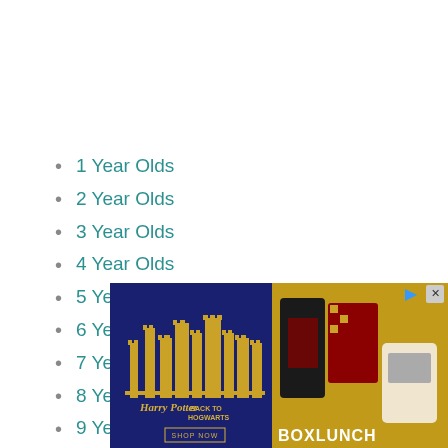1 Year Olds
2 Year Olds
3 Year Olds
4 Year Olds
5 Year Olds
6 Year Olds
7 Year Olds
8 Year Olds
9 Year Olds
10 Year Olds
[Figure (other): Harry Potter / Back to Hogwarts advertisement banner featuring Hogwarts castle illustration and BoxLunch merchandise]